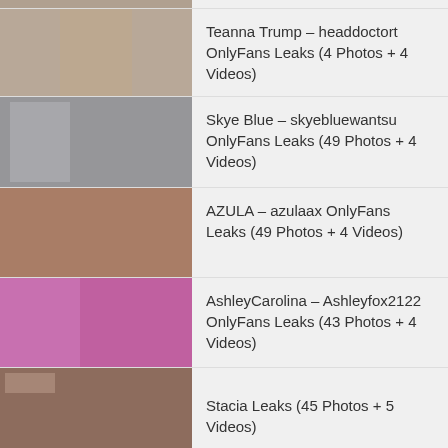Teanna Trump – headdoctort OnlyFans Leaks (4 Photos + 4 Videos)
Skye Blue – skyebluewantsu OnlyFans Leaks (49 Photos + 4 Videos)
AZULA – azulaax OnlyFans Leaks (49 Photos + 4 Videos)
AshleyCarolina – Ashleyfox2122 OnlyFans Leaks (43 Photos + 4 Videos)
Stacia Leaks (45 Photos + 5 Videos)